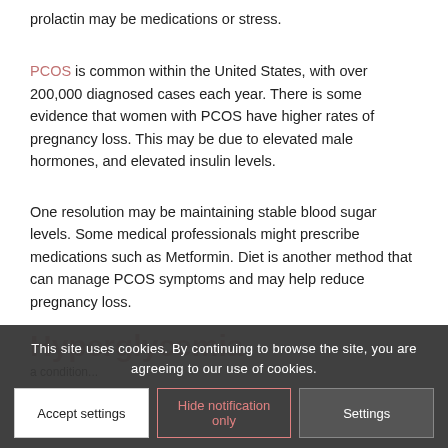prolactin may be medications or stress.
PCOS is common within the United States, with over 200,000 diagnosed cases each year. There is some evidence that women with PCOS have higher rates of pregnancy loss. This may be due to elevated male hormones, and elevated insulin levels.
One resolution may be maintaining stable blood sugar levels. Some medical professionals might prescribe medications such as Metformin. Diet is another method that can manage PCOS symptoms and may help reduce pregnancy loss.
Hyperglycemia
This site uses cookies. By continuing to browse the site, you are agreeing to our use of cookies.